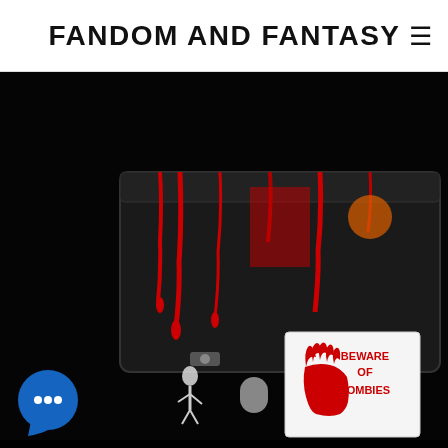FANDOM AND FANTASY
[Figure (photo): Walking Dead themed gift basket / box with bloody red drips, figurines, and a 'Beware of Zombies' sign with a red handprint, displayed on a dark background]
WALKING DEAD
SHOP
[Figure (photo): A dark gift box with a blue ribbon bow and what appears to be books or items inside, partially visible at the bottom of the page]
[Figure (other): Blue chat bubble icon with three dots indicating a messaging widget]